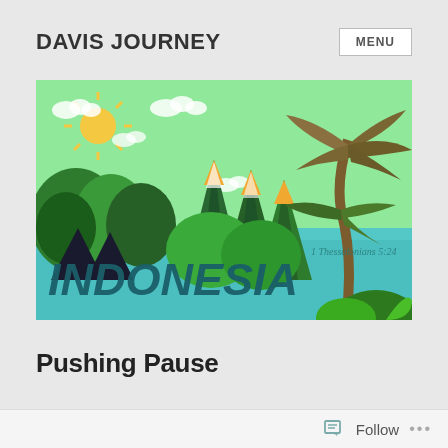DAVIS JOURNEY
MENU
[Figure (illustration): Colorful illustrated banner for 'Davis Journey Indonesia' blog. Features a light green sky background with mountains (dark green, teal, with orange/yellow snow-capped peaks), white puffy clouds, a yellow sun with rays on the left, a teal/blue lake or sea in the middle ground, and a large palm tree with broad leaves on the right side. The word 'INDONESIA' is written in large dark teal brush-script lettering across the bottom, with '1 Thessalonians 5:24' in smaller text above it.]
Pushing Pause
Follow ...